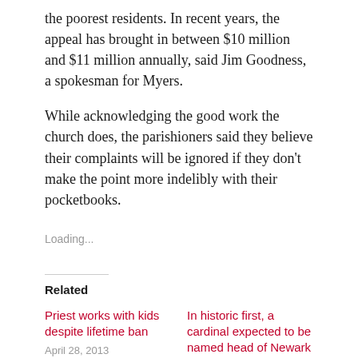the poorest residents. In recent years, the appeal has brought in between $10 million and $11 million annually, said Jim Goodness, a spokesman for Myers.
While acknowledging the good work the church does, the parishioners said they believe their complaints will be ignored if they don't make the point more indelibly with their pocketbooks.
Loading...
Related
Priest works with kids despite lifetime ban
April 28, 2013
In historic first, a cardinal expected to be named head of Newark